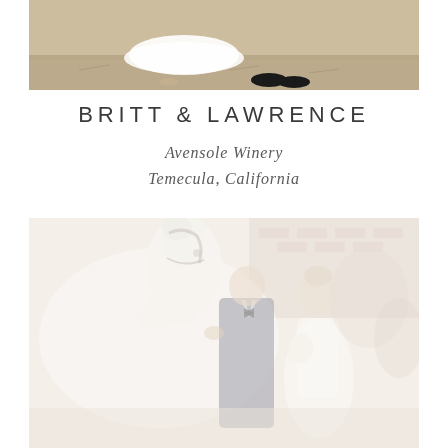[Figure (photo): Partial wedding photo at top showing feet/shoes of couple on sandy/earthy ground, cropped at bottom of frame]
BRITT & LAWRENCE
Avensole Winery
Temecula, California
[Figure (photo): Faded/washed-out photo of a couple in wedding attire with a white horse, standing near a brick wall. The groom is in a dark suit and the bride in white.]